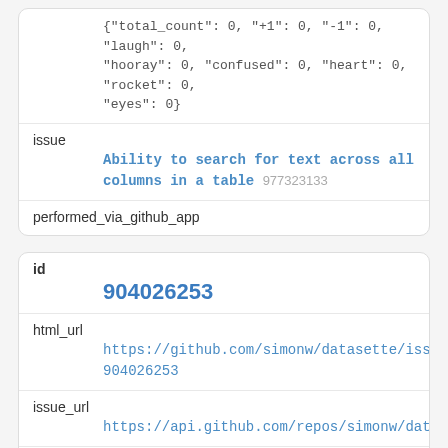| reactions | {"total_count": 0, "+1": 0, "-1": 0, "laugh": 0, "hooray": 0, "confused": 0, "heart": 0, "rocket": 0, "eyes": 0} |
| issue | Ability to search for text across all columns in a table 977323133 |
| performed_via_github_app |  |
| id | 904026253 |
| html_url | https://github.com/simonw/datasette/issues/1445#iss 904026253 |
| issue_url | https://api.github.com/repos/simonw/datasette/issues |
| node_id | IC_kwDOBm6k_c414liN |
| user | simonw 9599 |